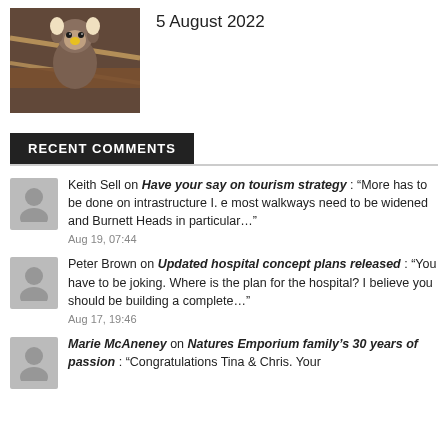[Figure (photo): A small monkey with a yellow beak/nose sitting on wooden beams with ropes, photographed close-up]
5 August 2022
RECENT COMMENTS
Keith Sell on Have your say on tourism strategy : “More has to be done on intrastructure I. e most walkways need to be widened and Burnett Heads in particular…”
Aug 19, 07:44
Peter Brown on Updated hospital concept plans released : “You have to be joking. Where is the plan for the hospital? I believe you should be building a complete…”
Aug 17, 19:46
Marie McAneney on Natures Emporium family’s 30 years of passion : “Congratulations Tina & Chris. Your